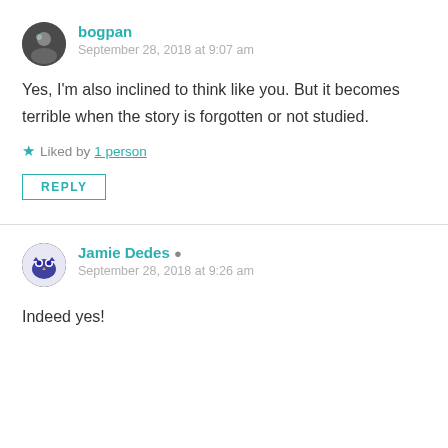bogpan
September 28, 2018 at 9:07 am
Yes, I'm also inclined to think like you. But it becomes terrible when the story is forgotten or not studied.
Liked by 1 person
REPLY
Jamie Dedes
September 28, 2018 at 9:26 am
Indeed yes!